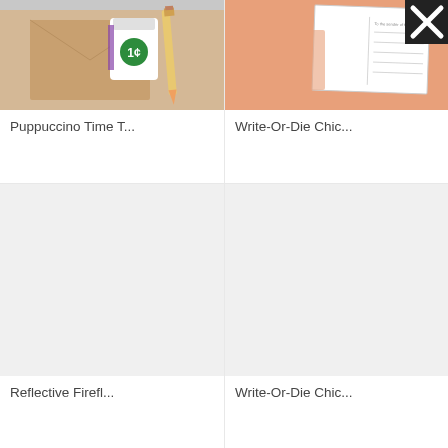[Figure (photo): Product image showing a kraft envelope, a coffee cup with green circle logo, and a pencil on a tan/brown background]
Puppuccino Time T...
[Figure (photo): Product image showing a postcard with salmon/pink background and an X icon, with a white postcard address area visible]
Write-Or-Die Chic...
[Figure (photo): Light gray placeholder image for a product]
Reflective Firefl...
[Figure (photo): Light gray placeholder image for a product]
Write-Or-Die Chic...